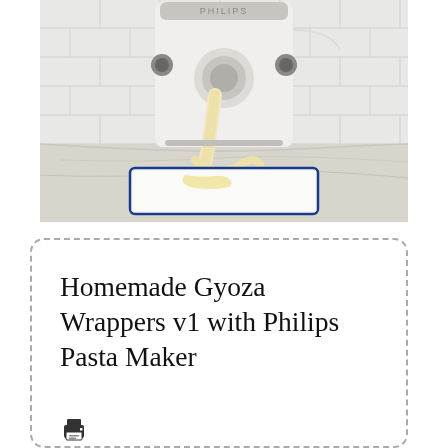[Figure (photo): A white Philips pasta maker machine extruding flat dough sheets into a white enamel tray with blue rim, set on a marble countertop against a white subway tile background.]
Homemade Gyoza Wrappers v1 with Philips Pasta Maker